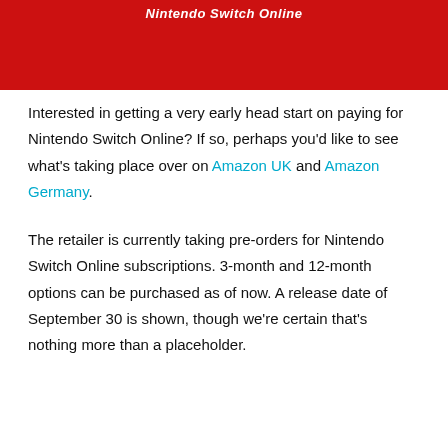[Figure (other): Red banner with white italic text reading 'Nintendo Switch Online']
Interested in getting a very early head start on paying for Nintendo Switch Online? If so, perhaps you'd like to see what's taking place over on Amazon UK and Amazon Germany.
The retailer is currently taking pre-orders for Nintendo Switch Online subscriptions. 3-month and 12-month options can be purchased as of now. A release date of September 30 is shown, though we're certain that's nothing more than a placeholder.